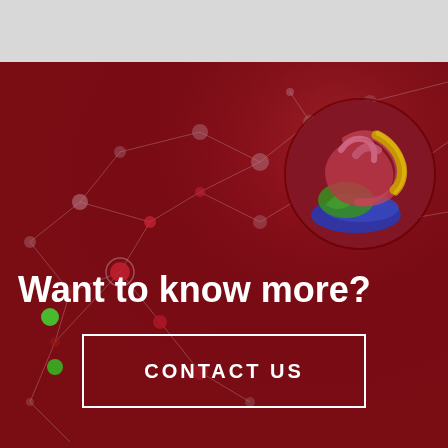[Figure (illustration): Dark red background with network graph of connected nodes (circles connected by lines), some nodes colored red, green, and pink. An inset circular image shows a 3D protein structure with red, blue, yellow, and green ribbons/helices.]
Want to know more?
CONTACT US